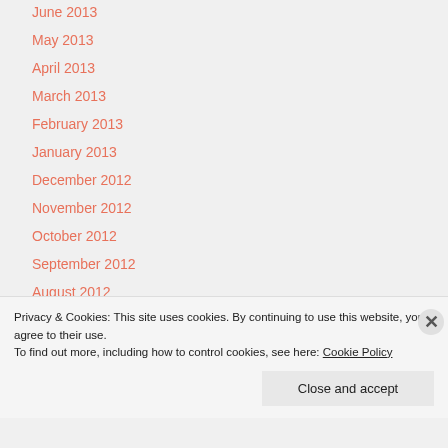June 2013
May 2013
April 2013
March 2013
February 2013
January 2013
December 2012
November 2012
October 2012
September 2012
August 2012
Privacy & Cookies: This site uses cookies. By continuing to use this website, you agree to their use.
To find out more, including how to control cookies, see here: Cookie Policy
Close and accept